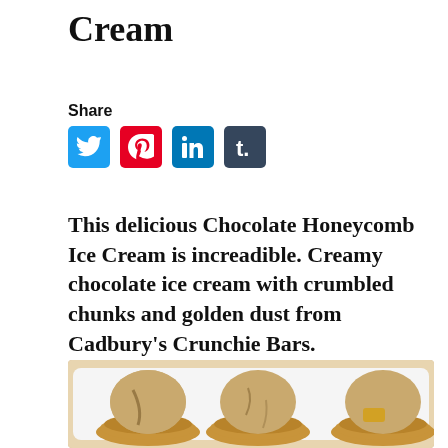Cream
Share
[Figure (infographic): Social media share icons: Twitter (blue bird), Pinterest (red P), LinkedIn (blue 'in'), Tumblr (dark blue 't.')]
This delicious Chocolate Honeycomb Ice Cream is increadible. Creamy chocolate ice cream with crumbled chunks and golden dust from Cadbury's Crunchie Bars.
[Figure (photo): Three scoops of chocolate honeycomb ice cream served in round cookie/pastry shells on a white plate, viewed from above at a slight angle. The ice cream is a golden-brown caramel color.]